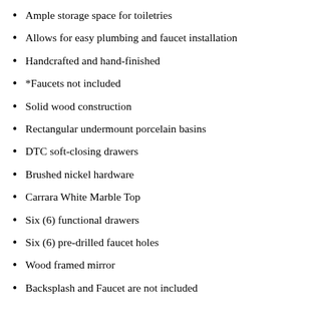Ample storage space for toiletries
Allows for easy plumbing and faucet installation
Handcrafted and hand-finished
*Faucets not included
Solid wood construction
Rectangular undermount porcelain basins
DTC soft-closing drawers
Brushed nickel hardware
Carrara White Marble Top
Six (6) functional drawers
Six (6) pre-drilled faucet holes
Wood framed mirror
Backsplash and Faucet are not included